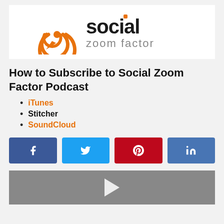[Figure (logo): Social Zoom Factor logo with orange circular icon and 'social zoom factor' wordmark]
How to Subscribe to Social Zoom Factor Podcast
iTunes
Stitcher
SoundCloud
[Figure (infographic): Social share buttons: Facebook, Twitter, Pinterest, LinkedIn]
[Figure (photo): Video thumbnail with play button, gray background]